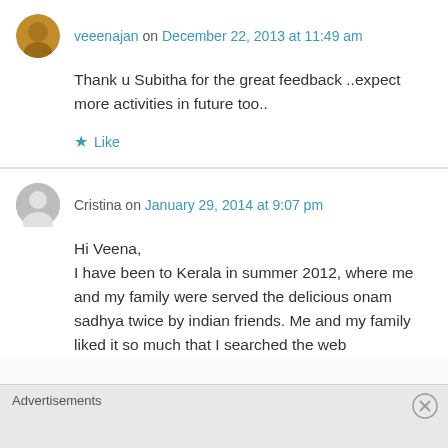veeenajan on December 22, 2013 at 11:49 am
Thank u Subitha for the great feedback ..expect more activities in future too..
Like
Cristina on January 29, 2014 at 9:07 pm
Hi Veena,
I have been to Kerala in summer 2012, where me and my family were served the delicious onam sadhya twice by indian friends. Me and my family liked it so much that I searched the web
Advertisements